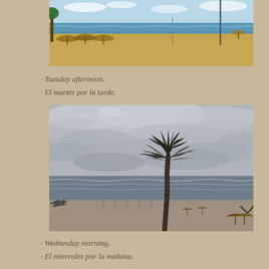[Figure (photo): Sunny beach scene with palm trees, thatched-roof umbrellas, sandy beach, and calm blue ocean water. Clear sky with light clouds.]
· Tuesday afternoon.
· El martes por la tarde.
[Figure (photo): Overcast beach scene with dramatic grey cloudy sky, a single tall palm tree silhouetted in center, rough ocean waves, sandy beach with thatched umbrellas and small palm trees in foreground.]
· Wednesday morning.
· El miercoles por la mañana.